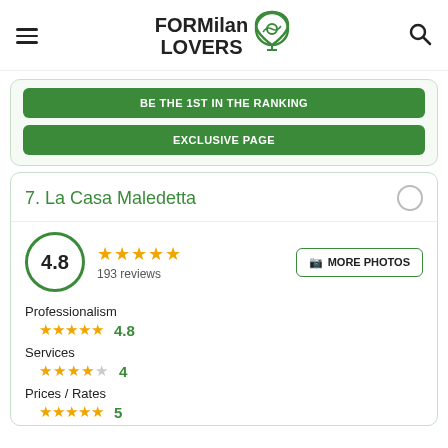FORMilan LOVERS
BE THE 1ST IN THE RANKING
EXCLUSIVE PAGE
7. La Casa Maledetta
4.8 — 193 reviews — MORE PHOTOS
Professionalism
4.8
Services
4
Prices / Rates
5